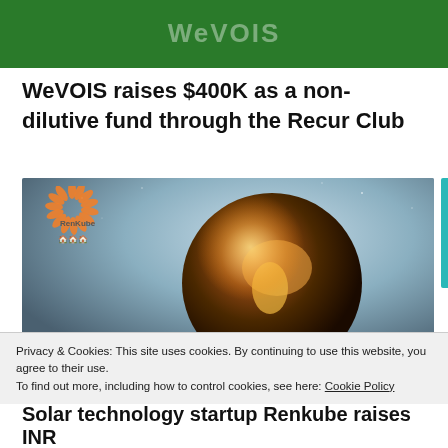[Figure (logo): WeVOIS logo on green banner background]
WeVOIS raises $400K as a non-dilutive fund through the Recur Club
[Figure (photo): RenKube logo overlay on a photo of a glowing Earth globe held by hands against a starry sky background]
Privacy & Cookies: This site uses cookies. By continuing to use this website, you agree to their use.
To find out more, including how to control cookies, see here: Cookie Policy
Solar technology startup Renkube raises INR